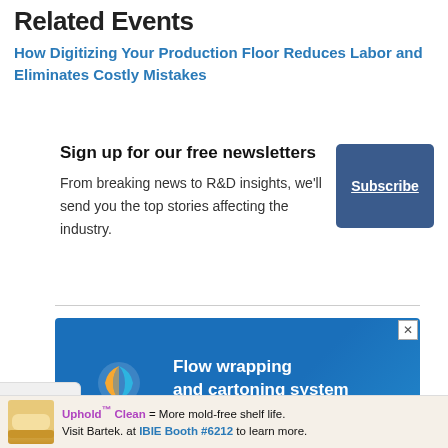Related Events
How Digitizing Your Production Floor Reduces Labor and Eliminates Costly Mistakes
Sign up for our free newsletters
From breaking news to R&D insights, we'll send you the top stories affecting the industry.
[Figure (infographic): Advertisement banner for Cavanna showing logo and text 'Flow wrapping and cartoning system for bakeries' on a blue background]
[Figure (infographic): Bottom banner advertisement for Bartek with bread image: 'Uphold Clean = More mold-free shelf life. Visit Bartek. at IBIE Booth #6212 to learn more.']